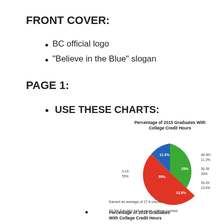FRONT COVER:
BC official logo
“Believe in the Blue” slogan
PAGE 1:
USE THESE CHARTS:
[Figure (pie-chart): Percentage of 2015 Graduates With College Credit Hours]
Earned an average of 17.4 credits
73.3% Enrolled in 3 or more college courses
Percentage of 2016 Graduates With College Credit Hours